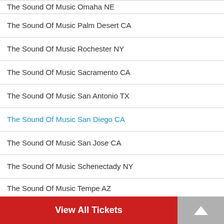The Sound Of Music Omaha NE
The Sound Of Music Palm Desert CA
The Sound Of Music Rochester NY
The Sound Of Music Sacramento CA
The Sound Of Music San Antonio TX
The Sound Of Music San Diego CA
The Sound Of Music San Jose CA
The Sound Of Music Schenectady NY
The Sound Of Music Tempe AZ
The Sound Of Music Tucson AZ
The Sound Of Music Washington DC
View All Tickets